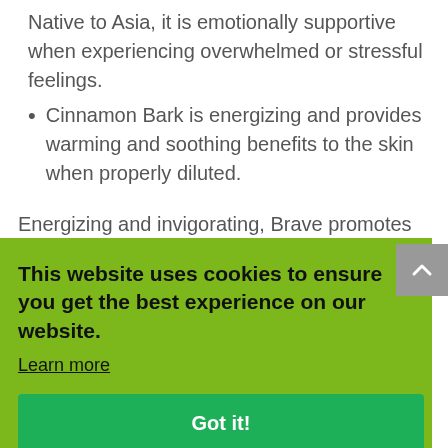Native to Asia, it is emotionally supportive when experiencing overwhelmed or stressful feelings.
Cinnamon Bark is energizing and provides warming and soothing benefits to the skin when properly diluted.
Energizing and invigorating, Brave promotes feelings of confidence, courage, and belief in oneself.
This website uses cookies to ensure you get the best experience on our website. Learn more Got it!